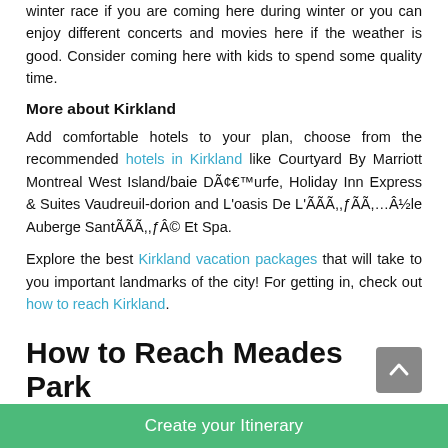winter race if you are coming here during winter or you can enjoy different concerts and movies here if the weather is good. Consider coming here with kids to spend some quality time.
More about Kirkland
Add comfortable hotels to your plan, choose from the recommended hotels in Kirkland like Courtyard By Marriott Montreal West Island/baie DÃ¢€™urfe, Holiday Inn Express & Suites Vaudreuil-dorion and L'oasis De L'ÃÃÃ,,ƒÃÃ,...Â½le Auberge SantÃÃÃ,,ƒÂ© Et Spa.
Explore the best Kirkland vacation packages that will take to you important landmarks of the city! For getting in, check out how to reach Kirkland.
How to Reach Meades Park
Create your Itinerary